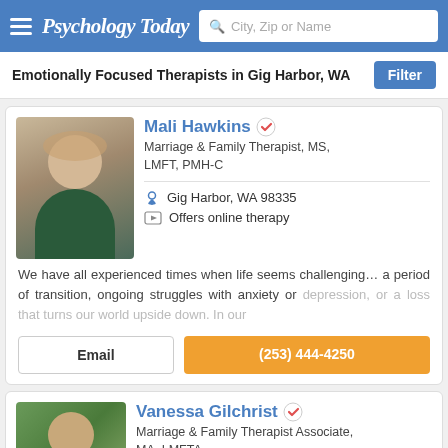Psychology Today — City, Zip or Name search
Emotionally Focused Therapists in Gig Harbor, WA
Mali Hawkins — Marriage & Family Therapist, MS, LMFT, PMH-C
Gig Harbor, WA 98335
Offers online therapy
We have all experienced times when life seems challenging… a period of transition, ongoing struggles with anxiety or depression, or a loss that turns our world upside down. In our
Email | (253) 444-4250
Vanessa Gilchrist — Marriage & Family Therapist Associate, MA, LMFTA